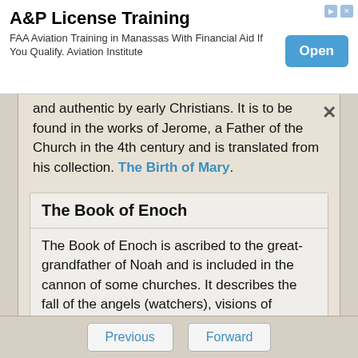[Figure (screenshot): Advertisement banner for A&P License Training. Title: 'A&P License Training'. Subtitle: 'FAA Aviation Training in Manassas With Financial Aid If You Qualify. Aviation Institute'. Blue 'Open' button on the right.]
and authentic by early Christians. It is to be found in the works of Jerome, a Father of the Church in the 4th century and is translated from his collection. The Birth of Mary.
The Book of Enoch
The Book of Enoch is ascribed to the great-grandfather of Noah and is included in the cannon of some churches. It describes the fall of the angels (watchers), visions of heaven and hell and the birth of Noah. Quotes from the book of Enoch are found in the New Testament. The Book of Enoch
Previous   Forward